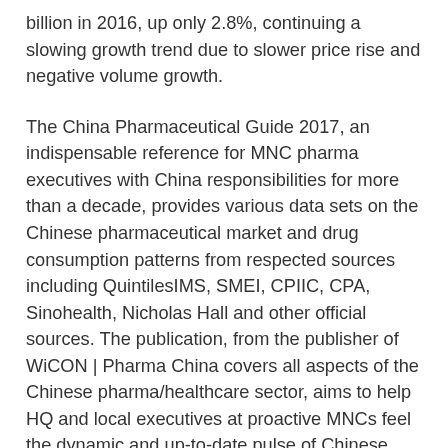billion in 2016, up only 2.8%, continuing a slowing growth trend due to slower price rise and negative volume growth.
The China Pharmaceutical Guide 2017, an indispensable reference for MNC pharma executives with China responsibilities for more than a decade, provides various data sets on the Chinese pharmaceutical market and drug consumption patterns from respected sources including QuintilesIMS, SMEI, CPIIC, CPA, Sinohealth, Nicholas Hall and other official sources. The publication, from the publisher of WiCON | Pharma China covers all aspects of the Chinese pharma/healthcare sector, aims to help HQ and local executives at proactive MNCs feel the dynamic and up-to-date pulse of Chinese healthcare in order to stay in the driver seat of their business in the country.